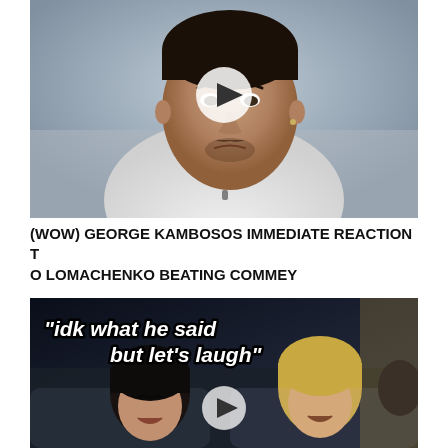[Figure (screenshot): Video thumbnail showing a tattooed man in a white shirt with a play button overlay, appearing to be an interview or reaction video]
(WOW) GEORGE KAMBOSOS IMMEDIATE REACTION TO LOMACHENKO BEATING COMMEY
[Figure (screenshot): Video thumbnail showing people laughing in a car with white bold italic text overlay reading: "idk what he said but let's laugh", with a play button overlay]